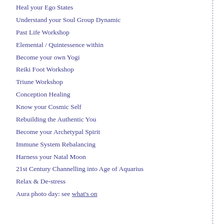Heal your Ego States
Understand your Soul Group Dynamic
Past Life Workshop
Elemental / Quintessence within
Become your own Yogi
Reiki Foot Workshop
Triune Workshop
Conception Healing
Know your Cosmic Self
Rebuilding the Authentic You
Become your Archetypal Spirit
Immune System Rebalancing
Harness your Natal Moon
21st Century Channelling into Age of Aquarius
Relax & De-stress
Aura photo day: see what's on